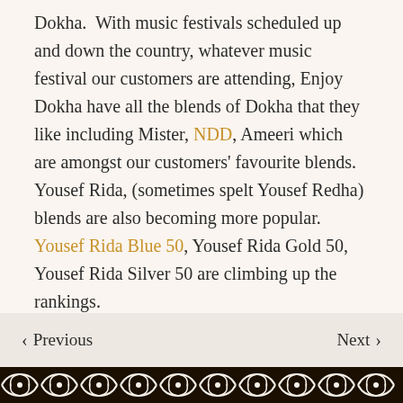Dokha.  With music festivals scheduled up and down the country, whatever music festival our customers are attending, Enjoy Dokha have all the blends of Dokha that they like including Mister, NDD, Ameeri which are amongst our customers' favourite blends.  Yousef Rida, (sometimes spelt Yousef Redha) blends are also becoming more popular. Yousef Rida Blue 50, Yousef Rida Gold 50, Yousef Rida Silver 50 are climbing up the rankings.
< Previous   Next >